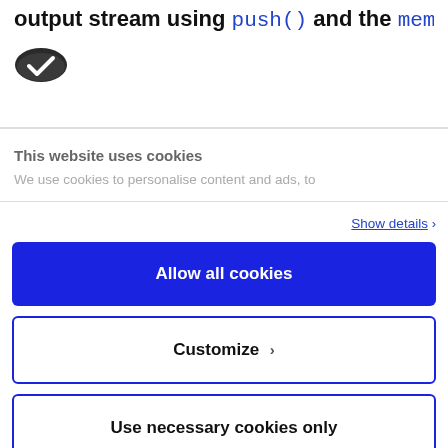output stream using push() and the memory
[Figure (logo): Cookiebot logo — dark oval badge with white checkmark]
This website uses cookies
We use cookies to personalise content and ads, to
Show details ›
Allow all cookies
Customize ›
Use necessary cookies only
Powered by Cookiebot by Usercentrics